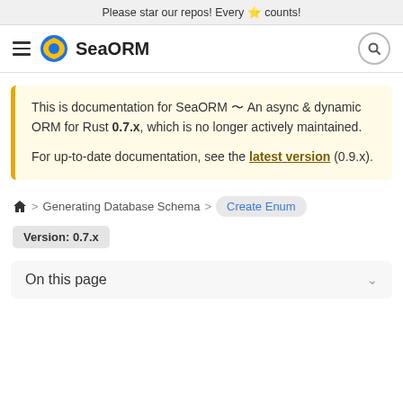Please star our repos! Every ⭐ counts!
[Figure (logo): SeaORM logo and navigation bar with hamburger menu, globe logo, brand name SeaORM, and search icon]
This is documentation for SeaORM 〜 An async & dynamic ORM for Rust 0.7.x, which is no longer actively maintained.

For up-to-date documentation, see the latest version (0.9.x).
🏠 > Generating Database Schema > Create Enum
Version: 0.7.x
On this page